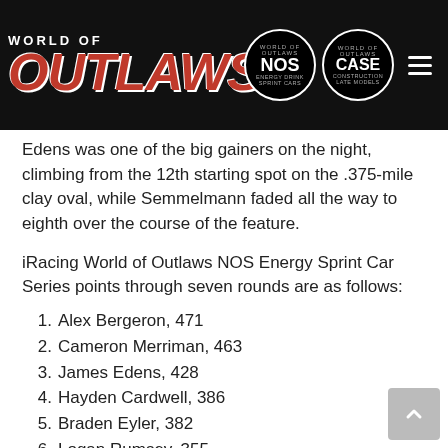[Figure (logo): World of Outlaws website header with logo, NOS Energy Sprint Car Series badge, CASE Construction Late Models badge, and hamburger menu icon]
Edens was one of the big gainers on the night, climbing from the 12th starting spot on the .375-mile clay oval, while Semmelmann faded all the way to eighth over the course of the feature.
iRacing World of Outlaws NOS Energy Sprint Car Series points through seven rounds are as follows:
1. Alex Bergeron, 471
2. Cameron Merriman, 463
3. James Edens, 428
4. Hayden Cardwell, 386
5. Braden Eyler, 382
6. Logan Rumsey, 355
7. Kendal Tucker, 352
8. Blake Matioulis, 348